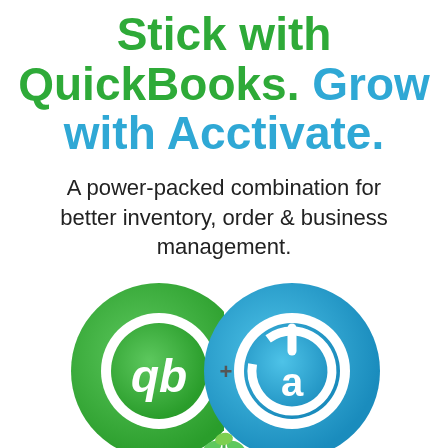Stick with QuickBooks. Grow with Acctivate.
A power-packed combination for better inventory, order & business management.
[Figure (logo): QuickBooks logo (green circular 'qb' icon) plus Acctivate logo (blue circular power/a icon) side by side with a small plant with coins graphic at the bottom center]